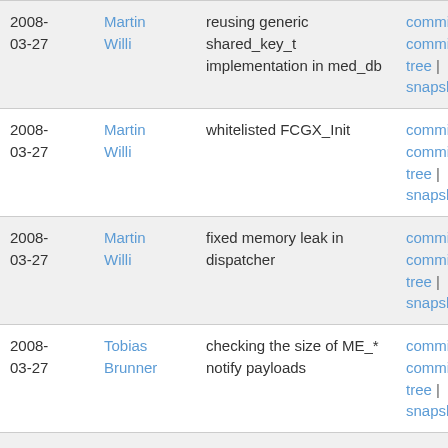| Date | Author | Message | Links |
| --- | --- | --- | --- |
| 2008-03-27 | Martin Willi | reusing generic shared_key_t implementation in med_db | commit | commitdiff | tree | snapshot |
| 2008-03-27 | Martin Willi | whitelisted FCGX_Init | commit | commitdiff | tree | snapshot |
| 2008-03-27 | Martin Willi | fixed memory leak in dispatcher | commit | commitdiff | tree | snapshot |
| 2008-03-27 | Tobias Brunner | checking the size of ME_* notify payloads | commit | commitdiff | tree | snapshot |
| 2008-03-27 | Tobias Brunner | replaced the COOKIE notify payload in connectivity... | commit | commitdiff | tree | snapshot |
| 2008- | Martin | implemented cert cache flushing, | commit | |